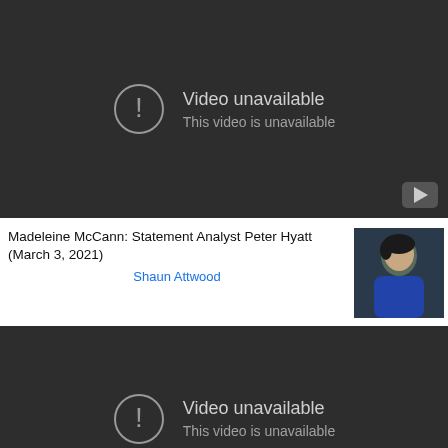[Figure (screenshot): YouTube video player showing 'Video unavailable' error with exclamation icon and YouTube button in bottom right corner]
Madeleine McCann: Statement Analyst Peter Hyatt (March 3, 2021)
Shaun Attwood
[Figure (screenshot): Second YouTube video player showing 'Video unavailable' and 'This video is unavailable' error message]